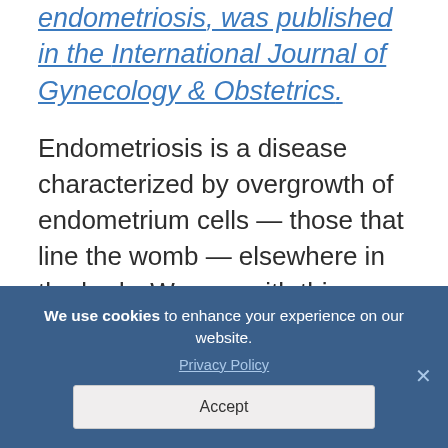endometriosis, was published in the International Journal of Gynecology & Obstetrics.
Endometriosis is a disease characterized by overgrowth of endometrium cells — those that line the womb — elsewhere in the body. Women with this disorder often experience acute inflammation, chronic pain, and infertility.
The underlying cause of endometriosis is
We use cookies to enhance your experience on our website. Privacy Policy Accept